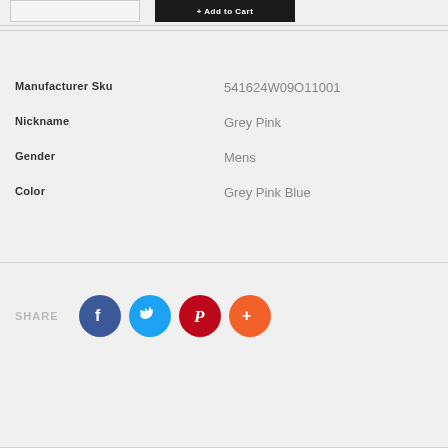| Attribute | Value |
| --- | --- |
| Manufacturer Sku | 541624W09O11001 |
| Nickname | Grey Pink |
| Gender | Mens |
| Color | Grey Pink Blue |
SHARE